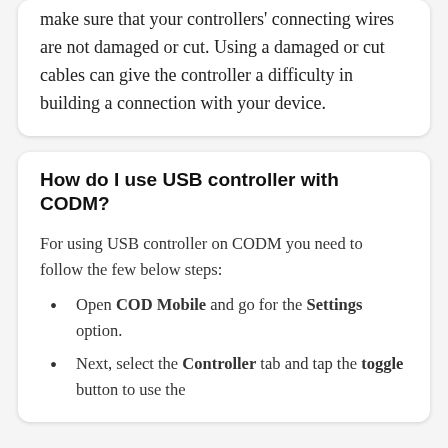make sure that your controllers' connecting wires are not damaged or cut. Using a damaged or cut cables can give the controller a difficulty in building a connection with your device.
How do I use USB controller with CODM?
For using USB controller on CODM you need to follow the few below steps:
Open COD Mobile and go for the Settings option.
Next, select the Controller tab and tap the toggle button to use the